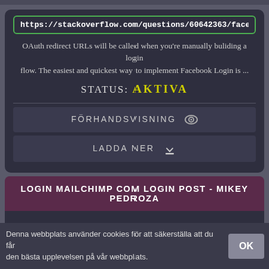https://stackoverflow.com/questions/60642363/facebook-login-no-redire
OAuth redirect URLs will be called when you're manually buliding a login flow. The easiest and quickest way to implement Facebook Login is ...
STATUS: AKTIVA
FÖRHANDSVISNING 👁
LADDA NER ⬇
LOGIN MAILCHIMP COM LOGIN POST - MIKEY PEDROZA
http://mikeypedroza.com/site/8yk9qaf.php?ac9f62=login-mailchimp-con
Navigate to the Mailchimp login screen. Having an identity crisis? Update basic information . Log in to contact a support agent, or upgrade to a paid
Denna webbplats använder cookies för att säkerställa att du får den bästa upplevelsen på vår webbplats.